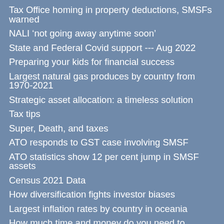Tax Office homing in property deductions, SMSFs warned
NALI ‘not going away anytime soon’
State and Federal Covid support --- Aug 2022
Preparing your kids for financial success
Largest natural gas produces by country from 1970-2021
Strategic asset allocation: a timeless solution
Tax tips
Super, Death, and taxes
ATO responds to GST case involving SMSF
ATO statistics show 12 per cent jump in SMSF assets
Census 2021 Data
How diversification fights investor biases
Largest inflation rates by country in oceania
How much time and money do you need to consider